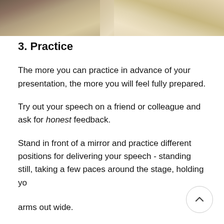[Figure (photo): Partial photo of a laptop and desk items (pen holder with colored pencils) on a wooden surface, cropped at the top of the page.]
3. Practice
The more you can practice in advance of your presentation, the more you will feel fully prepared.
Try out your speech on a friend or colleague and ask for honest feedback.
Stand in front of a mirror and practice different positions for delivering your speech - standing still, taking a few paces around the stage, holding your arms out wide.